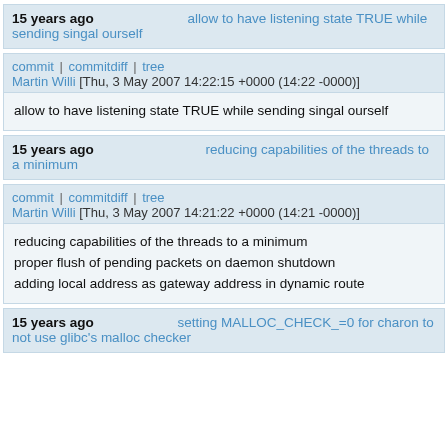15 years ago   allow to have listening state TRUE while sending singal ourself
commit | commitdiff | tree
Martin Willi [Thu, 3 May 2007 14:22:15 +0000 (14:22 -0000)]
allow to have listening state TRUE while sending singal ourself
15 years ago   reducing capabilities of the threads to a minimum
commit | commitdiff | tree
Martin Willi [Thu, 3 May 2007 14:21:22 +0000 (14:21 -0000)]
reducing capabilities of the threads to a minimum
proper flush of pending packets on daemon shutdown
adding local address as gateway address in dynamic route
15 years ago   setting MALLOC_CHECK_=0 for charon to not use glibc's malloc checker